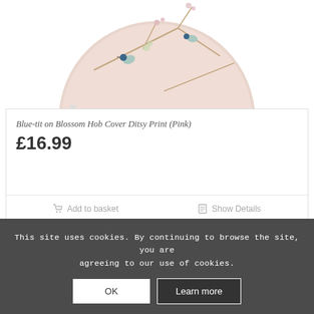[Figure (photo): Circular hob cover with pink background featuring blue-tit birds and blossom branches pattern, partially visible at top of page]
Blue-tit on Blossom Hob Cover Ditsy Print (Pink)
£16.99
Add to basket
Show Details
This site uses cookies. By continuing to browse the site, you are agreeing to our use of cookies.
OK
Learn more